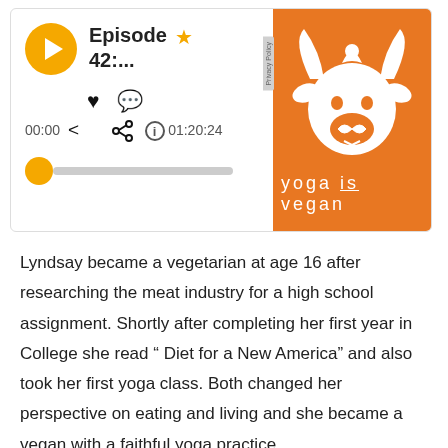[Figure (screenshot): Podcast player UI showing Episode 42 with play button, heart/comment/share/info icons, time 00:00 and 01:20:24, progress bar, and 'yoga is vegan' logo on orange background with stylized cow illustration]
Lyndsay became a vegetarian at age 16 after researching the meat industry for a high school assignment. Shortly after completing her first year in College she read “ Diet for a New America” and also took her first yoga class. Both changed her perspective on eating and living and she became a vegan with a faithful yoga practice.